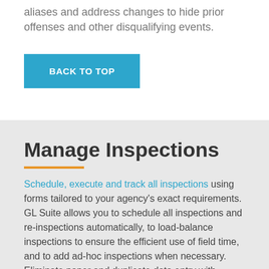aliases and address changes to hide prior offenses and other disqualifying events.
BACK TO TOP
Manage Inspections
Schedule, execute and track all inspections using forms tailored to your agency's exact requirements. GL Suite allows you to schedule all inspections and re-inspections automatically, to load-balance inspections to ensure the efficient use of field time, and to add ad-hoc inspections when necessary. Eliminate paper and duplicate data entry with